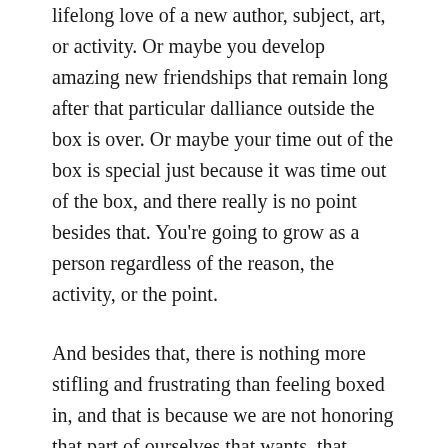lifelong love of a new author, subject, art, or activity. Or maybe you develop amazing new friendships that remain long after that particular dalliance outside the box is over. Or maybe your time out of the box is special just because it was time out of the box, and there really is no point besides that. You're going to grow as a person regardless of the reason, the activity, or the point.
And besides that, there is nothing more stifling and frustrating than feeling boxed in, and that is because we are not honoring that part of ourselves that wants, that needs so desperately to get out. In 2016, I was feeling like I was in a box. A box of social and political correctness. The box grew more and more confining as the accepted conditions of my career held me back